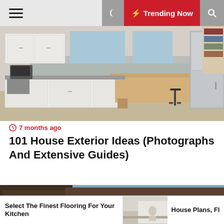Trending Now
[Figure (photo): Kitchen interior with white cabinets, butcher block island, bar stool, and stainless steel refrigerator]
7 months ago
101 House Exterior Ideas (Photographs And Extensive Guides)
[Figure (photo): Modern house exterior with wood siding, glass doors, balcony railing, and green hills in background]
Select The Finest Flooring For Your Kitchen
[Figure (photo): Interior room thumbnail]
House Plans, Floc